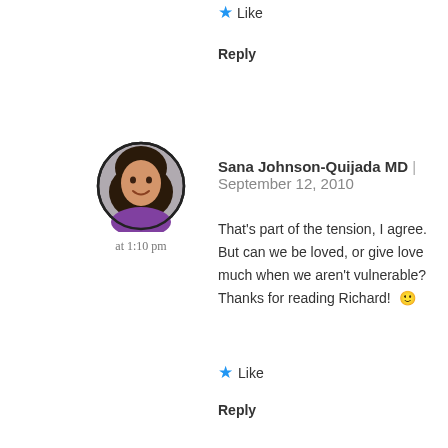★ Like
Reply
[Figure (photo): Circular avatar photo of Sana Johnson-Quijada MD, a woman with dark hair, smiling, wearing a purple top]
Sana Johnson-Quijada MD | September 12, 2010 at 1:10 pm
That's part of the tension, I agree. But can we be loved, or give love much when we aren't vulnerable?
Thanks for reading Richard! 🙂
★ Like
Reply
Leave a Reply
Your email address will not be published. Required fields are marked *